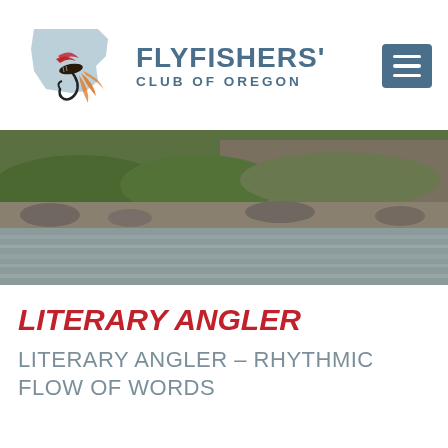[Figure (logo): Flyfishers' Club of Oregon logo with Oregon state shape outline in light blue-grey, a red and black fly fishing lure with orange tail overlaid, and club name text]
LITERARY ANGLER
LITERARY ANGLER – RHYTHMIC FLOW OF WORDS